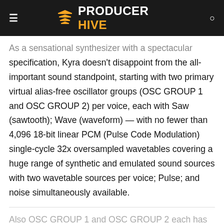PRODUCER HIVE
As a sensational synthesizer with a spectacular specification, Kyra doesn't disappoint from the all-important sound standpoint, starting with two primary virtual alias-free oscillator groups (OSC GROUP 1 and OSC GROUP 2) per voice, each with Saw (sawtooth); Wave (waveform) — with no fewer than 4,096 18-bit linear PCM (Pulse Code Modulation) single-cycle 32x oversampled wavetables covering a huge range of synthetic and emulated sound sources with two wavetable sources per voice; Pulse; and noise simultaneously available.
Also OSC GROUP 1 and OSC GROUP 2 each has an